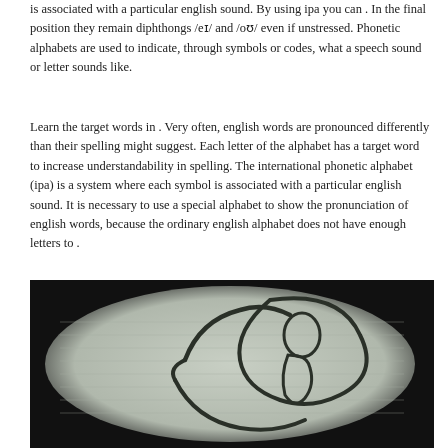is associated with a particular english sound. By using ipa you can . In the final position they remain diphthongs /eɪ/ and /oʊ/ even if unstressed. Phonetic alphabets are used to indicate, through symbols or codes, what a speech sound or letter sounds like.
Learn the target words in . Very often, english words are pronounced differently than their spelling might suggest. Each letter of the alphabet has a target word to increase understandability in spelling. The international phonetic alphabet (ipa) is a system where each symbol is associated with a particular english sound. It is necessary to use a special alphabet to show the pronunciation of english words, because the ordinary english alphabet does not have enough letters to .
[Figure (illustration): A hand-drawn sketch on lined paper showing abstract figures — appears to depict a person holding or cradling something, drawn with dark ink strokes on a light background.]